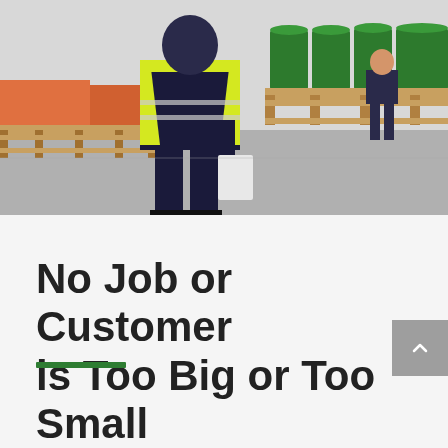[Figure (photo): Warehouse scene showing a worker in a yellow high-visibility vest carrying a clipboard, with green barrels/drums stacked on pallets in the background and another person visible in the distance.]
No Job or Customer is Too Big or Too Small